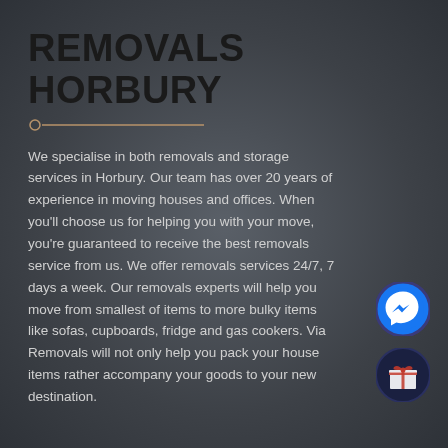REMOVALS HORBURY
We specialise in both removals and storage services in Horbury. Our team has over 20 years of experience in moving houses and offices. When you'll choose us for helping you with your move, you're guaranteed to receive the best removals service from us. We offer removals services 24/7, 7 days a week. Our removals experts will help you move from smallest of items to more bulky items like sofas, cupboards, fridge and gas cookers. Via Removals will not only help you pack your house items rather accompany your goods to your new destination.
[Figure (illustration): Blue circular Facebook Messenger icon button]
[Figure (illustration): Dark circular gift/present icon button]